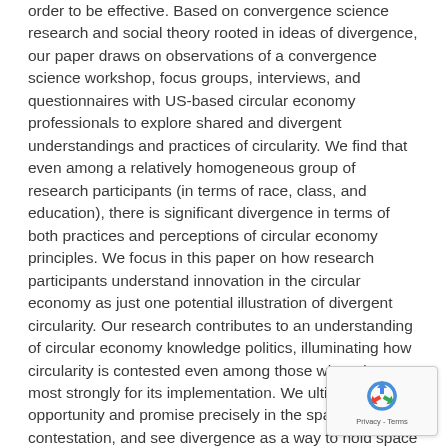order to be effective. Based on convergence science research and social theory rooted in ideas of divergence, our paper draws on observations of a convergence science workshop, focus groups, interviews, and questionnaires with US-based circular economy professionals to explore shared and divergent understandings and practices of circularity. We find that even among a relatively homogeneous group of research participants (in terms of race, class, and education), there is significant divergence in terms of both practices and perceptions of circular economy principles. We focus in this paper on how research participants understand innovation in the circular economy as just one potential illustration of divergent circularity. Our research contributes to an understanding of circular economy knowledge politics, illuminating how circularity is contested even among those who advocate most strongly for its implementation. We ultimately find opportunity and promise precisely in the spaces of contestation, and see divergence as a way to hold space for multiple ways of being and relating to economies, materials, and beings. These more inclusive pathways, we argue, may be necessary to ensure just and effective transitions to more circular economic forms.
[Figure (other): reCAPTCHA widget overlay with recycling arrow logo and Privacy - Terms text]